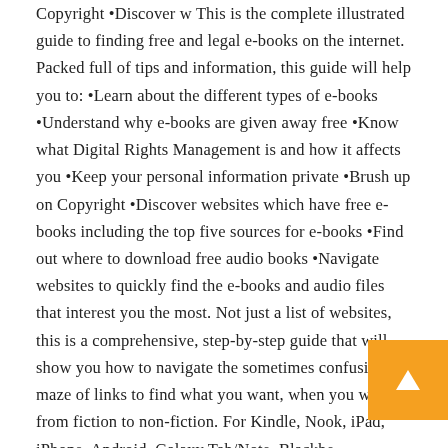Copyright •Discover w This is the complete illustrated guide to finding free and legal e-books on the internet. Packed full of tips and information, this guide will help you to: •Learn about the different types of e-books •Understand why e-books are given away free •Know what Digital Rights Management is and how it affects you •Keep your personal information private •Brush up on Copyright •Discover websites which have free e-books including the top five sources for e-books •Find out where to download free audio books •Navigate websites to quickly find the e-books and audio files that interest you the most. Not just a list of websites, this is a comprehensive, step-by-step guide that will show you how to navigate the sometimes confusing maze of links to find what you want, when you want it, from fiction to non-fiction. For Kindle, Nook, iPad, iPhone, Android, Galaxy Tab/Note, Blackberry, Windows & Mac users.
[Figure (other): Orange square button with white upward arrow, positioned bottom-right corner]